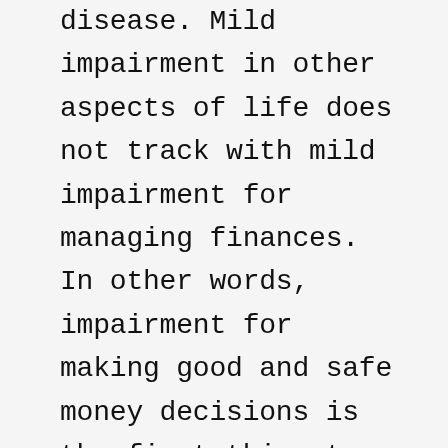disease. Mild impairment in other aspects of life does not track with mild impairment for managing finances. In other words, impairment for making good and safe money decisions is the first thing to go when cognitive decline is developing. And we also understand that the risk of developing dementia increases with age, regardless of how intelligent or accomplished a person was earlier in life.

What does this mean for you, if you